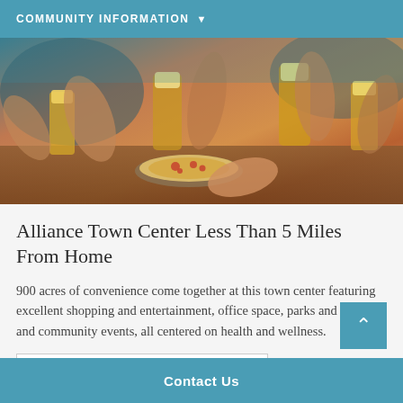COMMUNITY INFORMATION
[Figure (photo): People clinking beer glasses over food at a restaurant or bar gathering]
Alliance Town Center Less Than 5 Miles From Home
900 acres of convenience come together at this town center featuring excellent shopping and entertainment, office space, parks and trails, and community events, all centered on health and wellness.
Shop Your Favorite Brands
Contact Us